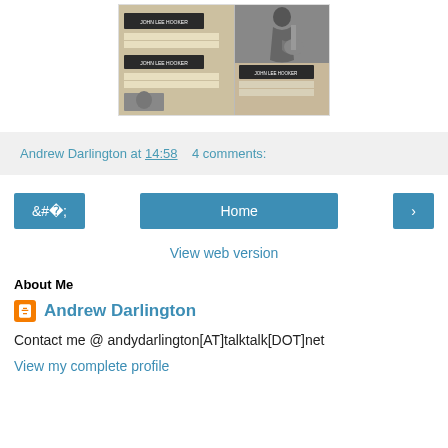[Figure (photo): Collage of John Lee Hooker album covers and a black-and-white photo of a man playing guitar]
Andrew Darlington at 14:58   4 comments:
Home
View web version
About Me
Andrew Darlington
Contact me @ andydarlington[AT]talktalk[DOT]net
View my complete profile